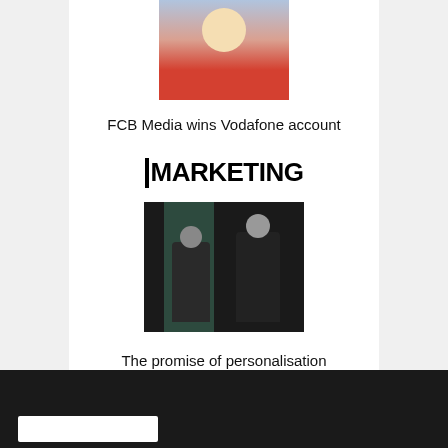[Figure (photo): Portrait photo of a woman with blonde hair smiling, wearing a red patterned top]
FCB Media wins Vodafone account
[Figure (logo): MARKETING magazine logo in bold black uppercase text]
[Figure (photo): Two people standing in dark clothing against a dark background with a green/teal panel]
The promise of personalisation